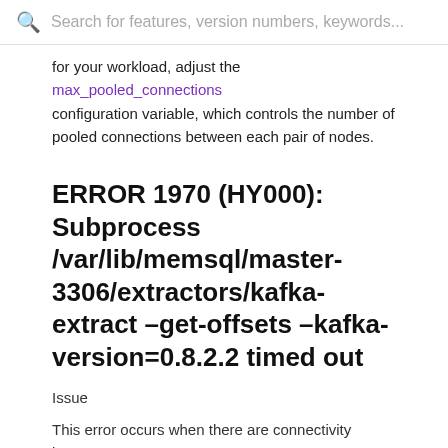Search for features, version numbers, keywords...
for your workload, adjust the max_pooled_connections configuration variable, which controls the number of pooled connections between each pair of nodes.
ERROR 1970 (HY000): Subprocess /var/lib/memsql/master-3306/extractors/kafka-extract –get-offsets –kafka-version=0.8.2.2 timed out
Issue
This error occurs when there are connectivity issues between a MemSQL node and the data source (e.g. Kafka